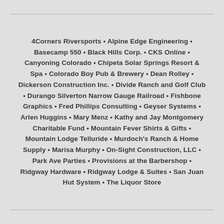4Corners Riversports • Alpine Edge Engineering • Basecamp 550 • Black Hills Corp. • CKS Online • Canyoning Colorado • Chipeta Solar Springs Resort & Spa • Colorado Boy Pub & Brewery • Dean Rolley • Dickerson Construction Inc. • Divide Ranch and Golf Club • Durango Silverton Narrow Gauge Railroad • Fishbone Graphics • Fred Phillips Consulting • Geyser Systems • Arlen Huggins • Mary Menz • Kathy and Jay Montgomery Charitable Fund • Mountain Fever Shirts & Gifts • Mountain Lodge Telluride • Murdoch's Ranch & Home Supply • Marisa Murphy • On-Sight Construction, LLC • Park Ave Parties • Provisions at the Barbershop • Ridgway Hardware • Ridgway Lodge & Suites • San Juan Hut System • The Liquor Store